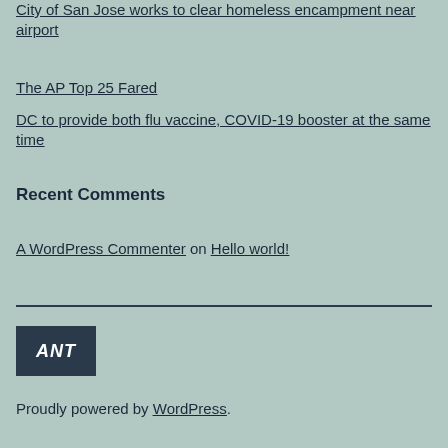City of San Jose works to clear homeless encampment near airport
The AP Top 25 Fared
DC to provide both flu vaccine, COVID-19 booster at the same time
Recent Comments
A WordPress Commenter on Hello world!
[Figure (logo): Blog logo with text 'ANT' in white italic bold font on dark navy/teal background]
Proudly powered by WordPress.